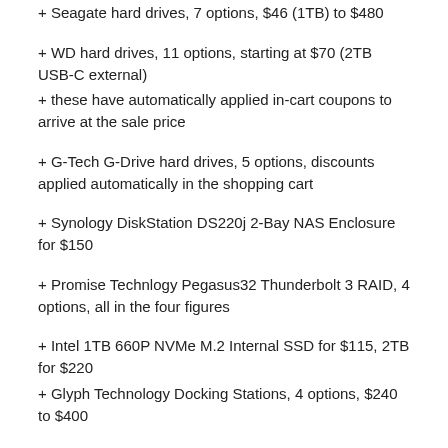+ Seagate hard drives, 7 options, $46 (1TB) to $480
+ WD hard drives, 11 options, starting at $70 (2TB USB-C external)
+ these have automatically applied in-cart coupons to arrive at the sale price
+ G-Tech G-Drive hard drives, 5 options, discounts applied automatically in the shopping cart
+ Synology DiskStation DS220j 2-Bay NAS Enclosure for $150
+ Promise Technlogy Pegasus32 Thunderbolt 3 RAID, 4 options, all in the four figures
+ Intel 1TB 660P NVMe M.2 Internal SSD for $115, 2TB for $220
+ Glyph Technology Docking Stations, 4 options, $240 to $400
+ fools check Atom X SSD mini (2TB) for $370